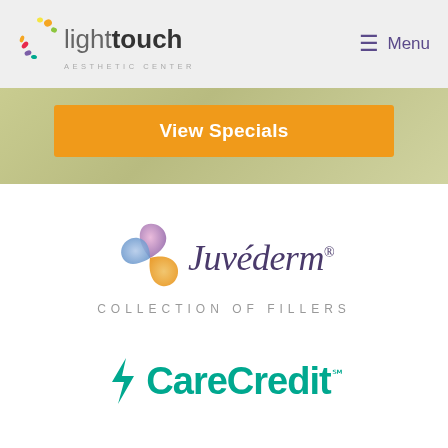[Figure (logo): Light Touch Aesthetic Center logo with colorful sparkle dots, navigation menu button]
[Figure (other): Orange 'View Specials' button on a greenish hero background]
[Figure (logo): Juvederm Collection of Fillers logo with swirl graphic]
[Figure (logo): CareCredit logo partially visible at bottom]